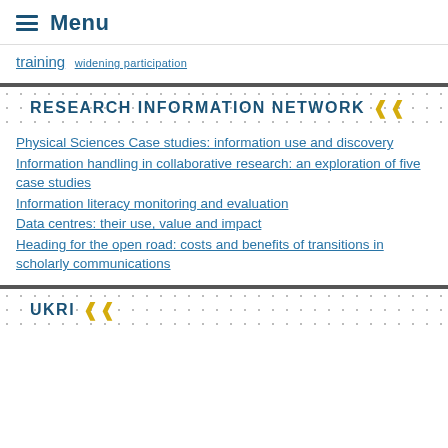Menu
training  widening participation
RESEARCH INFORMATION NETWORK
Physical Sciences Case studies: information use and discovery
Information handling in collaborative research: an exploration of five case studies
Information literacy monitoring and evaluation
Data centres: their use, value and impact
Heading for the open road: costs and benefits of transitions in scholarly communications
UKRI